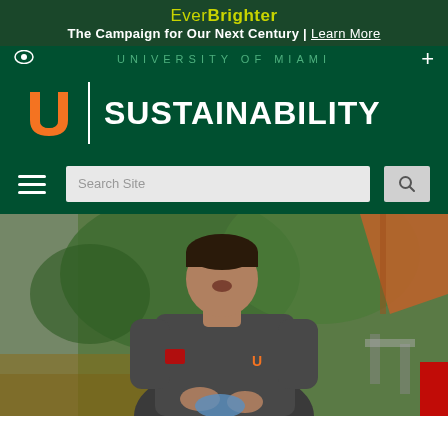EverBrighter
The Campaign for Our Next Century | Learn More
UNIVERSITY OF MIAMI
SUSTAINABILITY
[Figure (photo): A young man wearing a dark gray Adidas polo shirt with a University of Miami 'U' logo, standing outdoors holding items, with green trees and an orange umbrella visible in the background.]